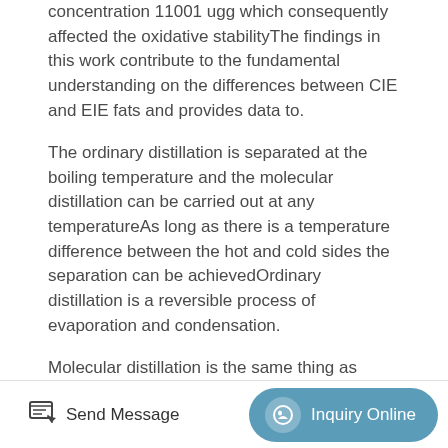concentration 11001 ugg which consequently affected the oxidative stabilityThe findings in this work contribute to the fundamental understanding on the differences between CIE and EIE fats and provides data to.
The ordinary distillation is separated at the boiling temperature and the molecular distillation can be carried out at any temperatureAs long as there is a temperature difference between the hot and cold sides the separation can be achievedOrdinary distillation is a reversible process of evaporation and condensation.
Molecular distillation is the same thing as shortpath distillationThese both imply use of high vacuum and a condensing surface in close proximity to a heated evaporation surfaceFor many applications such as cannabinoids and other compounds with even greater molecular weight and boiling points if this distance is not
Send Message | Inquiry Online